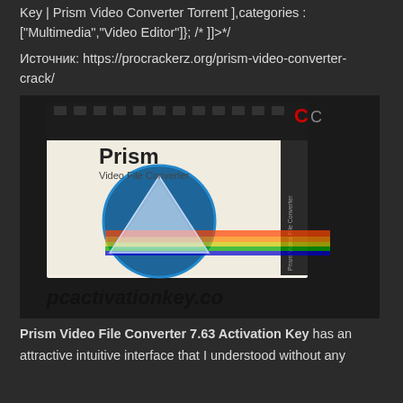Key | Prism Video Converter Torrent ],categories : ["Multimedia","Video Editor"]}; /* ]]>*/
Источник: https://procrackerz.org/prism-video-converter-crack/
[Figure (photo): Product box image of Prism Video File Converter software with a prism/rainbow triangle logo, showing the text 'Prism Video File Converter' and watermark 'pcactivationkey.co']
Prism Video File Converter 7.63 Activation Key has an attractive intuitive interface that I understood without any